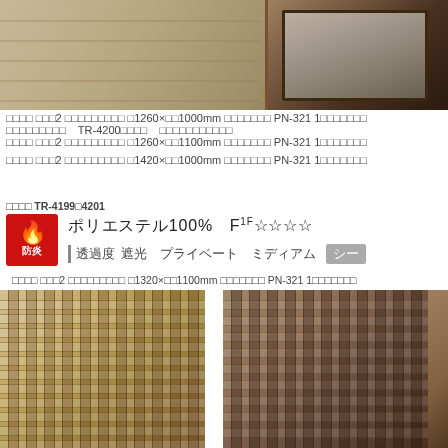[Figure (photo): Photo of tatami mat room with wooden table, natural woven texture flooring]
□□□□ □□□2 □□□□□□□□□ □1260×□□1000mm □□□□□□□ PN-321 1□□□□□□□ □□□□□□□□□ TR-4200□□□□ □□□□□□□□□□□
□□□□ □□□2 □□□□□□□□□ □1260×□□1100mm □□□□□□□ PN-321 1□□□□□□□
□□□□ □□□2 □□□□□□□□□ □1420×□□1000mm □□□□□□□ PN-321 1□□□□□□□
□□□□ TR-4199□4201
ポリエステル100%　F1F☆☆☆☆
｜透過度｜ 遮光　プライベート　ミディアム　シー
□□□□ □□□2 □□□□□□□□□ □1320×□□1100mm □□□□□□□ PN-321 1□□□□□□□
[Figure (photo): Three close-up photos of woven bamboo/natural fiber fabric textures]
[Figure (photo): 防炎 fire-retardant certification badge (red square with flame icon)]